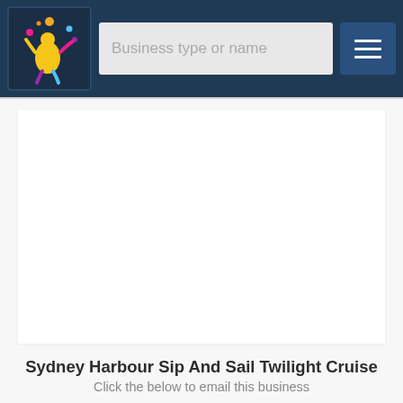[Figure (screenshot): Website navigation bar with a colorful logo icon on the left, a search input field labeled 'Business type or name' in the center, and a hamburger menu button on the right, all on a dark navy blue background]
[Figure (screenshot): Large white content area/panel on a light grey background, appearing to be a blank or loading section of a business listing webpage]
Sydney Harbour Sip And Sail Twilight Cruise
Click the below to email this business